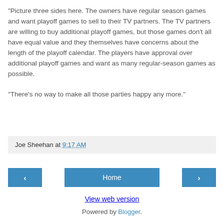"Picture three sides here. The owners have regular season games and want playoff games to sell to their TV partners. The TV partners are willing to buy additional playoff games, but those games don't all have equal value and they themselves have concerns about the length of the playoff calendar. The players have approval over additional playoff games and want as many regular-season games as possible.

"There's no way to make all those parties happy any more."
Joe Sheehan at 9:17 AM
View web version
Powered by Blogger.